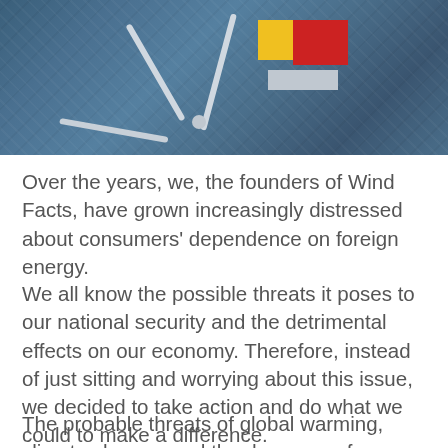[Figure (photo): Aerial view of an offshore wind turbine with large blades over dark ocean water, with a red and yellow service platform/vessel visible]
Over the years, we, the founders of Wind Facts, have grown increasingly distressed about consumers' dependence on foreign energy.
We all know the possible threats it poses to our national security and the detrimental effects on our economy. Therefore, instead of just sitting and worrying about this issue, we decided to take action and do what we could to make a difference.
The probable threats of global warming, climate change, and the decrease of non-renewable